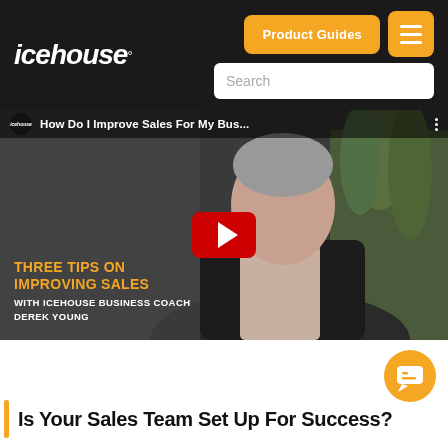icehouse — navigation bar with Product Guides button, menu button, and search box
[Figure (screenshot): YouTube video thumbnail showing a smiling middle-aged man in a suit, with title 'How Do I Improve Sales For My Bus...' and lower-third text 'THREE TIPS ON IMPROVING SALES WITH ICEHOUSE BUSINESS COACH DEREK YOUNG'. A red YouTube play button is centered on the image.]
| Is Your Sales Team Set Up For Success?